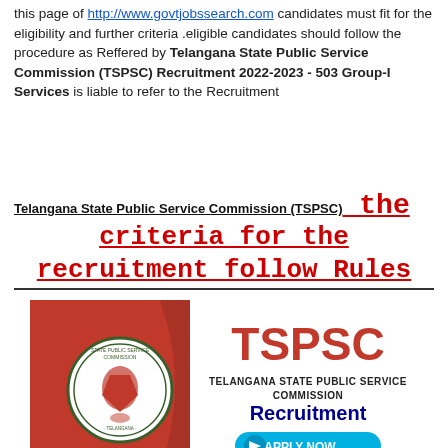this page of http://www.govtjobssearch.com candidates must fit for the eligibility and further criteria .eligible candidates should follow the procedure as Reffered by Telangana State Public Service Commission (TSPSC) Recruitment 2022-2023 - 503 Group-I Services is liable to refer to the Recruitment
Telangana State Public Service Commission (TSPSC)   the criteria for the recruitment follow Rules
[Figure (infographic): TSPSC (Telangana State Public Service Commission) recruitment banner image with red background on left, circular seal/logo, and text TSPSC, Telangana State Public Service Commission, Recruitment, Apply Now button]